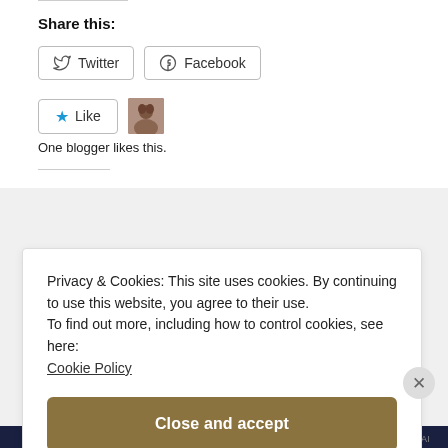Share this:
Twitter  Facebook
Like  One blogger likes this.
Privacy & Cookies: This site uses cookies. By continuing to use this website, you agree to their use.
To find out more, including how to control cookies, see here:
Cookie Policy
Close and accept